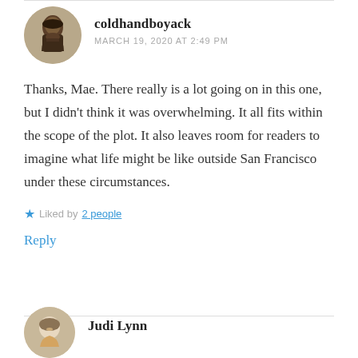coldhandboyack
MARCH 19, 2020 AT 2:49 PM
Thanks, Mae. There really is a lot going on in this one, but I didn't think it was overwhelming. It all fits within the scope of the plot. It also leaves room for readers to imagine what life might be like outside San Francisco under these circumstances.
Liked by 2 people
Reply
Judi Lynn